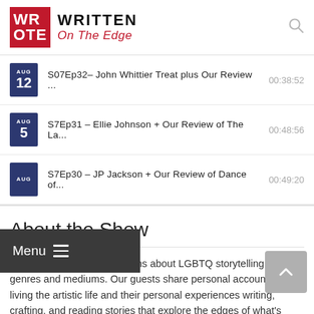WRITTEN On The Edge
AUG 12 | S07Ep32– John Whittier Treat plus Our Review ... | 00:38:52
AUG 5 | S7Ep31 – Ellie Johnson + Our Review of The La... | 00:48:56
AUG | S7Ep30 – JP Jackson + Our Review of Dance of... | 00:49:20
About the Show
Tune in for weekly discussions about LGBTQ storytelling in all genres and mediums. Our guests share personal accounts on living the artistic life and their personal experiences writing, crafting, and reading stories that explore the edges of what's accepted and where storytelling should be headed.
Disclaimer: The views and opinions of each interviewee are their own and do not represent this show, its hosts, or its founder...